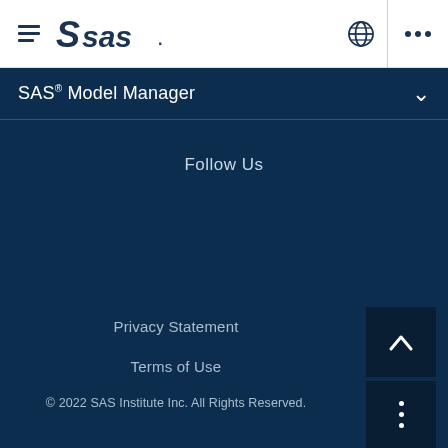[Figure (logo): SAS Institute hamburger menu icon and SAS logo in dark navy on white navigation bar]
SAS® Model Manager
Follow Us
Privacy Statement
Terms of Use
© 2022 SAS Institute Inc. All Rights Reserved.